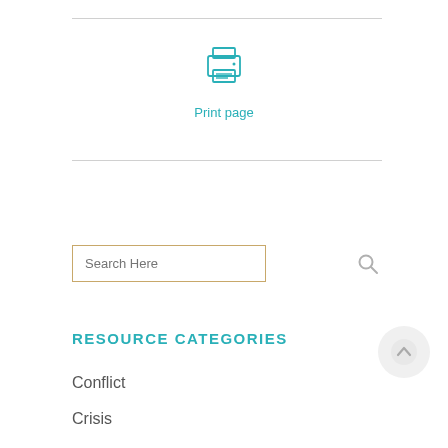[Figure (illustration): Printer icon in teal/cyan outline style]
Print page
Search Here
RESOURCE CATEGORIES
Conflict
Crisis